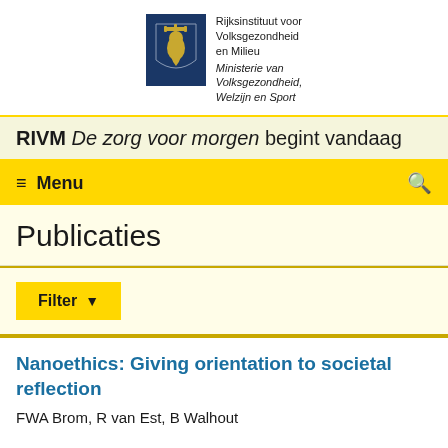[Figure (logo): RIVM logo with Dutch coat of arms shield on dark blue background, beside text: Rijksinstituut voor Volksgezondheid en Milieu, Ministerie van Volksgezondheid, Welzijn en Sport]
RIVM De zorg voor morgen begint vandaag
Menu
Publicaties
Filter
Nanoethics: Giving orientation to societal reflection
FWA Brom, R van Est, B Walhout